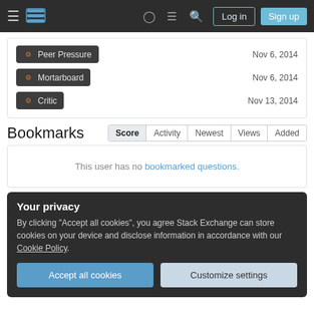Stack Exchange navigation bar with Log in and Sign up buttons
Peer Pressure — Nov 6, 2014
Mortarboard — Nov 6, 2014
Critic — Nov 13, 2014
Bookmarks
This user has no bookmarked questions.
Your privacy
By clicking "Accept all cookies", you agree Stack Exchange can store cookies on your device and disclose information in accordance with our Cookie Policy.
Accept all cookies | Customize settings